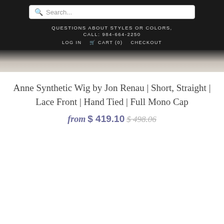Search...
QUESTIONS ABOUT STYLES OR COLORS,
CALL: 984-664-2250
LOG IN  CART (0)  CHECKOUT
Anne Synthetic Wig by Jon Renau | Short, Straight | Lace Front | Hand Tied | Full Mono Cap
from $ 419.10 $ 498.06